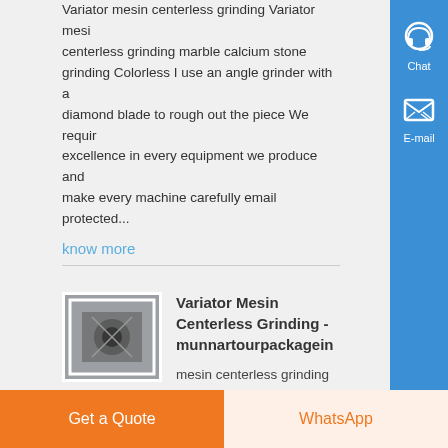Variator mesin centerless grinding Variator mesin centerless grinding marble calcium stone grinding Colorless I use an angle grinder with a diamond blade to rough out the piece We require excellence in every equipment we produce and make every machine carefully email protected...
know more
[Figure (photo): Small thumbnail photo of industrial grinding machinery]
Variator Mesin Centerless Grinding - munnartourpackagein
mesin centerless grinding thepavilionpatnacenterlis grinding mesin serviice mesin grinding crusher for sale variator mesin centerless gri Largescale crushing amp screening amp milling plants Offer efficient, costeffective services for you 7027697 07 58
Get a Quote
WhatsApp